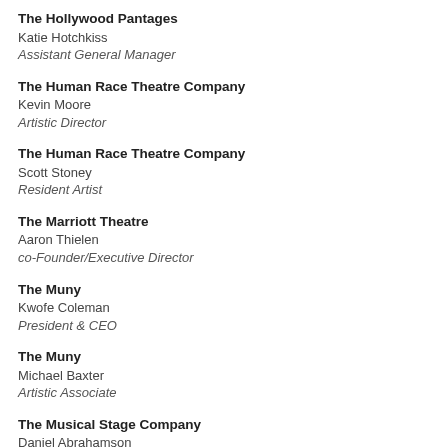The Hollywood Pantages
Katie Hotchkiss
Assistant General Manager
The Human Race Theatre Company
Kevin Moore
Artistic Director
The Human Race Theatre Company
Scott Stoney
Resident Artist
The Marriott Theatre
Aaron Thielen
co-Founder/Executive Director
The Muny
Kwofe Coleman
President & CEO
The Muny
Michael Baxter
Artistic Associate
The Musical Stage Company
Daniel Abrahamson
The Musical Stage Company